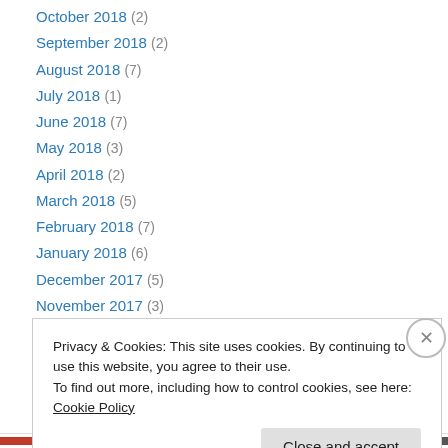October 2018 (2)
September 2018 (2)
August 2018 (7)
July 2018 (1)
June 2018 (7)
May 2018 (3)
April 2018 (2)
March 2018 (5)
February 2018 (7)
January 2018 (6)
December 2017 (5)
November 2017 (3)
October 2017 (2)
Privacy & Cookies: This site uses cookies. By continuing to use this website, you agree to their use. To find out more, including how to control cookies, see here: Cookie Policy
Close and accept